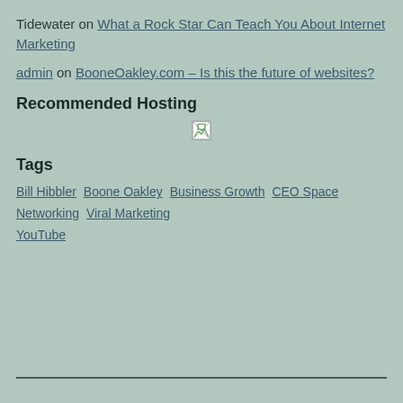Tidewater on What a Rock Star Can Teach You About Internet Marketing
admin on BooneOakley.com – Is this the future of websites?
Recommended Hosting
[Figure (other): Small broken/placeholder image icon]
Tags
Bill Hibbler  Boone Oakley  Business Growth  CEO Space  Networking  Viral Marketing  YouTube